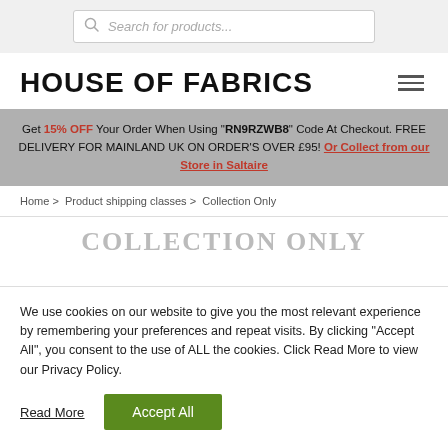[Figure (screenshot): Search bar input field with placeholder text 'Search for products...' and a search icon on the left]
HOUSE OF FABRICS
Get 15% OFF Your Order When Using "RN9RZWB8" Code At Checkout. FREE DELIVERY FOR MAINLAND UK ON ORDER'S OVER £95! Or Collect from our Store in Saltaire
Home > Product shipping classes > Collection Only
COLLECTION ONLY
We use cookies on our website to give you the most relevant experience by remembering your preferences and repeat visits. By clicking "Accept All", you consent to the use of ALL the cookies. Click Read More to view our Privacy Policy.
Read More | Accept All